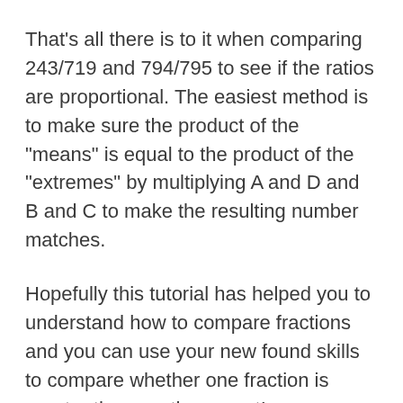That's all there is to it when comparing 243/719 and 794/795 to see if the ratios are proportional. The easiest method is to make sure the product of the "means" is equal to the product of the "extremes" by multiplying A and D and B and C to make the resulting number matches.
Hopefully this tutorial has helped you to understand how to compare fractions and you can use your new found skills to compare whether one fraction is greater than another or not!